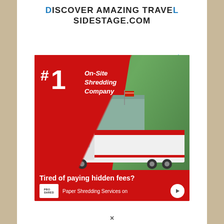DISCOVER AMAZING TRAVEL SIDESTAGE.COM
[Figure (photo): Advertisement for ProShred On-Site Shredding Company. Red background with white text reading '#1 On-Site Shredding Company'. Shows a white shredding truck. Bottom text reads 'Tired of paying hidden fees?' and 'Paper Shredding Services on' with ProShred logo.]
×